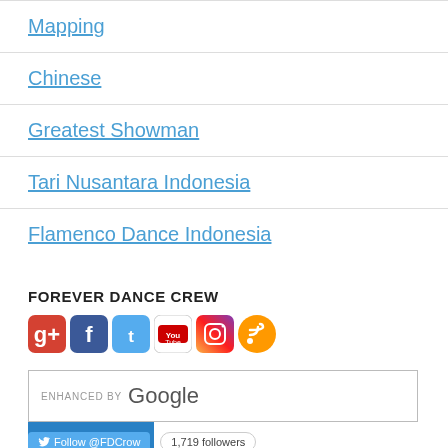Mapping
Chinese
Greatest Showman
Tari Nusantara Indonesia
Flamenco Dance Indonesia
FOREVER DANCE CREW
[Figure (screenshot): Social media icons: Google+, Facebook, Twitter, YouTube, Instagram, RSS feed]
[Figure (screenshot): Search box enhanced by Google with SEARCH button]
Follow @FDCrow   1,719 followers